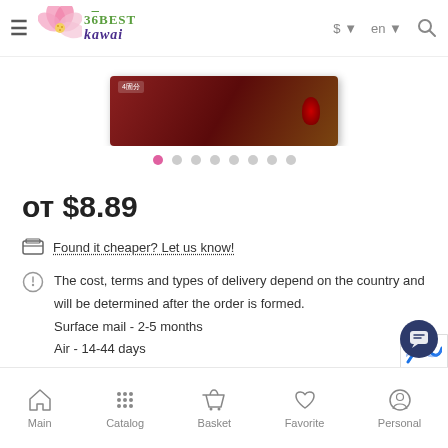36BEST kawai — $ · en
[Figure (photo): Product image (chocolate/candy box with red gradient background) with carousel dots below]
от $8.89
Found it cheaper? Let us know!
The cost, terms and types of delivery depend on the country and will be determined after the order is formed.
Surface mail - 2-5 months
Air - 14-44 days
Ems - 7-16 days
Main   Catalog   Basket   Favorite   Personal